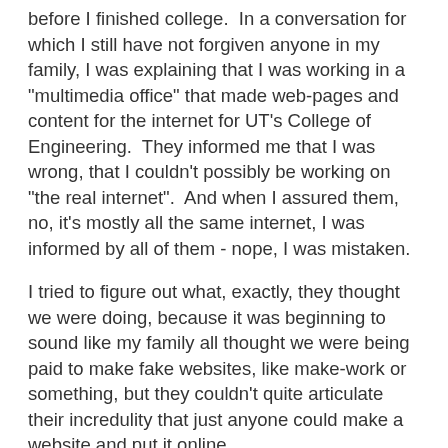before I finished college.  In a conversation for which I still have not forgiven anyone in my family, I was explaining that I was working in a "multimedia office" that made web-pages and content for the internet for UT's College of Engineering.  They informed me that I was wrong, that I couldn't possibly be working on "the real internet".  And when I assured them, no, it's mostly all the same internet, I was informed by all of them - nope, I was mistaken.
I tried to figure out what, exactly, they thought we were doing, because it was beginning to sound like my family all thought we were being paid to make fake websites, like make-work or something, but they couldn't quite articulate their incredulity that just anyone could make a website and put it online.
I walked out of the room and just went to bed and figured I'd let history sort it out.
At the time it was very, very hard to explain that this wasn't like television, which had huge walls and very specific gate-keepers.  My family sort of assumed what we were doing